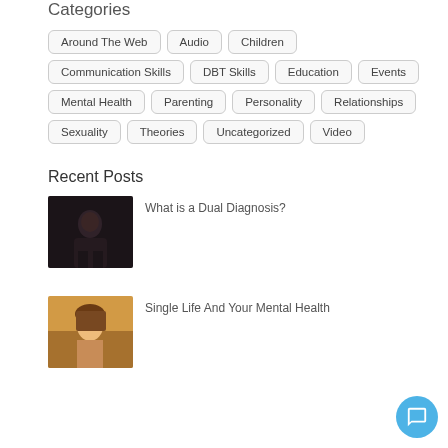Categories
Around The Web
Audio
Children
Communication Skills
DBT Skills
Education
Events
Mental Health
Parenting
Personality
Relationships
Sexuality
Theories
Uncategorized
Video
Recent Posts
[Figure (photo): Dark photo of a person sitting alone in low light]
What is a Dual Diagnosis?
[Figure (photo): Photo of a smiling young woman with long hair outdoors in warm light]
Single Life And Your Mental Health